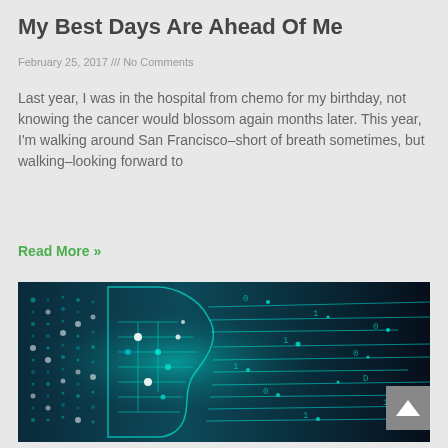My Best Days Are Ahead Of Me
February 25, 2017 /// No Comments
Last year, I was in the hospital from chemo for my birthday, not knowing the cancer would blossom again months later. This year, I'm walking around San Francisco–short of breath sometimes, but walking–looking forward to
Read More »
[Figure (illustration): Digital artwork of a human face profile made up of glowing cyan circuit board patterns and dots against a dark navy background, with binary data streams flowing to the right.]